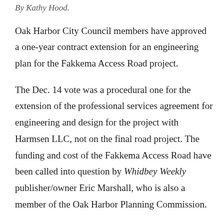By Kathy Hood.
Oak Harbor City Council members have approved a one-year contract extension for an engineering plan for the Fakkema Access Road project.
The Dec. 14 vote was a procedural one for the extension of the professional services agreement for engineering and design for the project with Harmsen LLC, not on the final road project. The funding and cost of the Fakkema Access Road have been called into question by Whidbey Weekly publisher/owner Eric Marshall, who is also a member of the Oak Harbor Planning Commission.
The city council had delayed the vote for a week, after